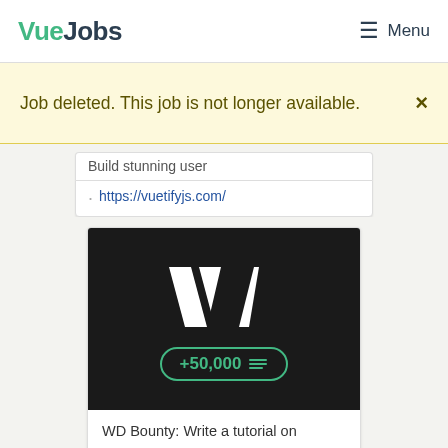VueJobs — Menu
Job deleted. This job is not longer available.
Build stunning user
https://vuetifyjs.com/
[Figure (screenshot): Dark background advertisement card showing a stylized white W logo and a green badge reading '+50,000' with decorative icons]
WD Bounty: Write a tutorial on developing a WordPress theme that leverages the new Full Site Editing feature.
ADS VIA CARBON